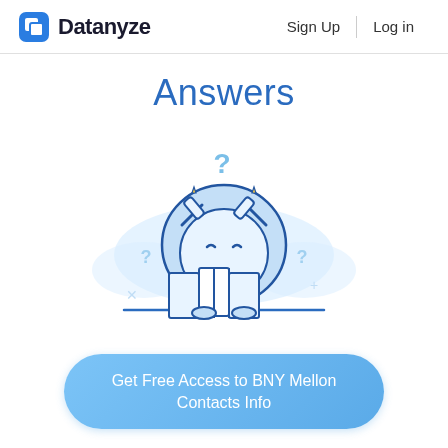Datanyze   Sign Up   Log in
Answers
[Figure (illustration): A cute rounded robot/mascot character holding open a map/book, with question marks floating around it, drawn in a light blue line art style on a white background with soft blue cloud shapes behind it.]
Get Free Access to BNY Mellon Contacts Info